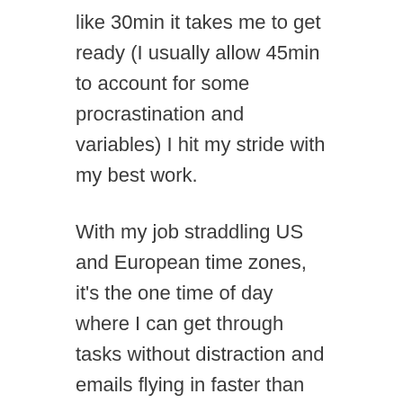like 30min it takes me to get ready (I usually allow 45min to account for some procrastination and variables) I hit my stride with my best work.
With my job straddling US and European time zones, it's the one time of day where I can get through tasks without distraction and emails flying in faster than they can be dealt with.
Daily Tetris
I fly through emails, sorting, flagging, deleting. I work to an empty inbox always so I don't lose track of anything, which sometimes calls for some heroic Tetris-like efforts with the volume of